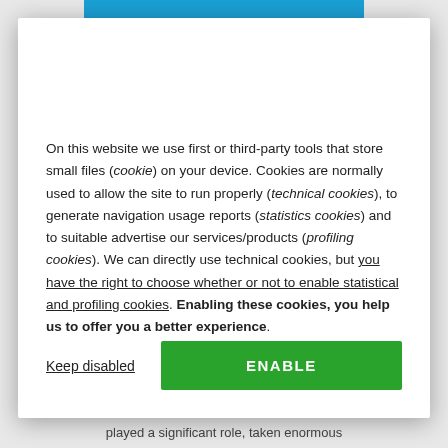STATE OF THE ART AND GAP ANALYSIS IN INTERNAL COMMUNICATION STRATEGIES
On this website we use first or third-party tools that store small files (cookie) on your device. Cookies are normally used to allow the site to run properly (technical cookies), to generate navigation usage reports (statistics cookies) and to suitable advertise our services/products (profiling cookies). We can directly use technical cookies, but you have the right to choose whether or not to enable statistical and profiling cookies. Enabling these cookies, you help us to offer you a better experience.
Keep disabled
ENABLE
played a significant role, taken enormous